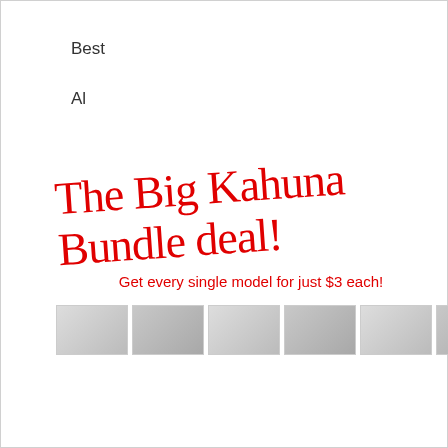Best
Al
The Big Kahuna Bundle deal!
Get every single model for just $3 each!
[Figure (photo): A horizontal strip of product thumbnail images, partially visible, showing various model figures against light backgrounds.]